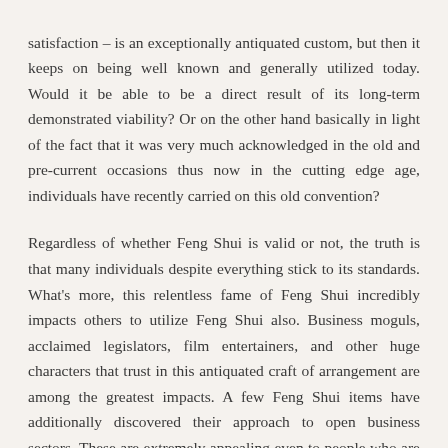satisfaction – is an exceptionally antiquated custom, but then it keeps on being well known and generally utilized today. Would it be able to be a direct result of its long-term demonstrated viability? Or on the other hand basically in light of the fact that it was very much acknowledged in the old and pre-current occasions thus now in the cutting edge age, individuals have recently carried on this old convention? Regardless of whether Feng Shui is valid or not, the truth is that many individuals despite everything stick to its standards. What's more, this relentless fame of Feng Shui incredibly impacts others to utilize Feng Shui also. Business moguls, acclaimed legislators, film entertainers, and other huge characters that trust in this antiquated craft of arrangement are among the greatest impacts. A few Feng Shui items have additionally discovered their approach to open business sectors. These are extremely appealing even to people who are not really solid Feng Shui adherents. Indeed, a large portion of the purchasers of these Feng Shui items are hopefuls – they are taking